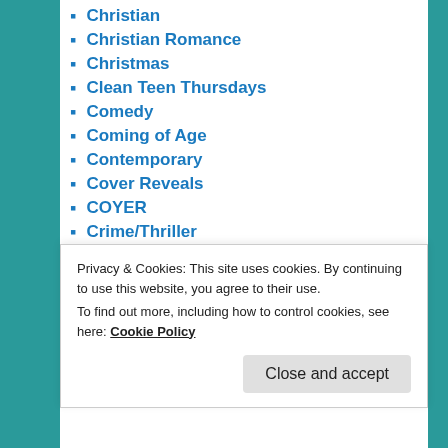Christian
Christian Romance
Christmas
Clean Teen Thursdays
Comedy
Coming of Age
Contemporary
Cover Reveals
COYER
Crime/Thriller
Discussions
Dog Stories
Drama
Dystopia Reading Challenge 2014
Privacy & Cookies: This site uses cookies. By continuing to use this website, you agree to their use.
To find out more, including how to control cookies, see here: Cookie Policy
Close and accept